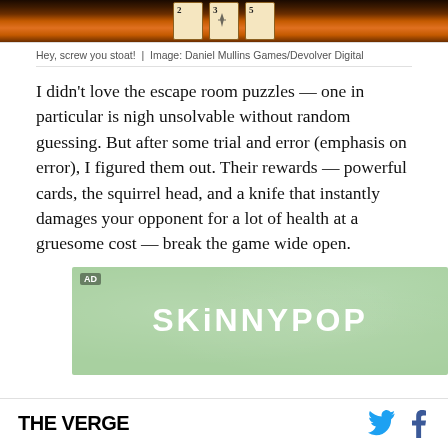[Figure (photo): Top portion of a game scene showing cards with numbers 2, 3, 5 on an orange/dark background — screenshot from Inscryption game]
Hey, screw you stoat!  |  Image: Daniel Mullins Games/Devolver Digital
I didn't love the escape room puzzles — one in particular is nigh unsolvable without random guessing. But after some trial and error (emphasis on error), I figured them out. Their rewards — powerful cards, the squirrel head, and a knife that instantly damages your opponent for a lot of health at a gruesome cost — break the game wide open.
[Figure (other): Advertisement banner for SkinnyPop with green textured background and white text reading SKINNYPOP]
THE VERGE